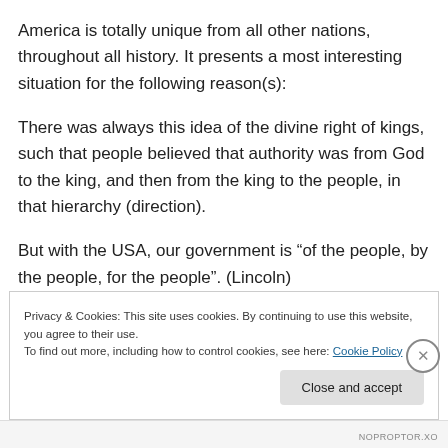America is totally unique from all other nations, throughout all history. It presents a most interesting situation for the following reason(s):
There was always this idea of the divine right of kings, such that people believed that authority was from God to the king, and then from the king to the people, in that hierarchy (direction).
But with the USA, our government is “of the people, by the people, for the people”. (Lincoln)
Privacy & Cookies: This site uses cookies. By continuing to use this website, you agree to their use.
To find out more, including how to control cookies, see here: Cookie Policy
Close and accept